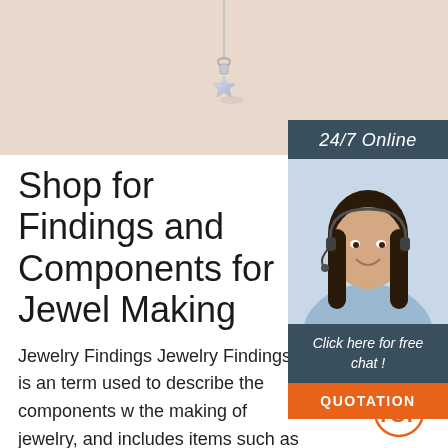[Figure (photo): Hero banner image showing a silver/crystal star pendant necklace hanging on a beige/cream background]
24/7 Online
[Figure (photo): Customer service agent, a woman with dark hair wearing a headset and light blue blouse, smiling]
Click here for free chat !
QUOTATION
Shop for Findings and Components for Jewel Making
Jewelry Findings Jewelry Findings is an term used to describe the components w the making of jewelry, and includes items such as clasps, earrings, crimps, and metal beads. At JewelrySupply we carry a wide variety of jewelry findings in 14k gold, sterling silver, gold filled, copper, pewter and base metal.
[Figure (logo): Orange TOP badge/logo with dot pattern above the word TOP]